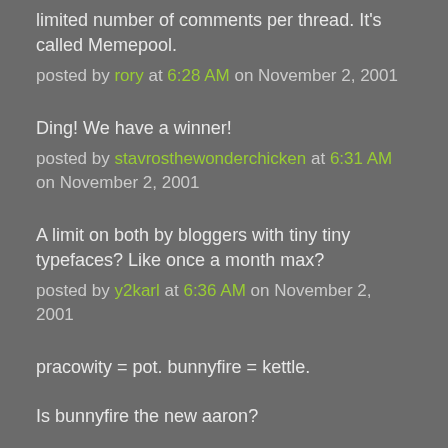limited number of comments per thread. It's called Memepool.
posted by rory at 6:28 AM on November 2, 2001
Ding! We have a winner!
posted by stavrosthewonderchicken at 6:31 AM on November 2, 2001
A limit on both by bloggers with tiny tiny typefaces? Like once a month max?
posted by y2karl at 6:36 AM on November 2, 2001
pracowity = pot. bunnyfire = kettle.
Is bunnyfire the new aaron?